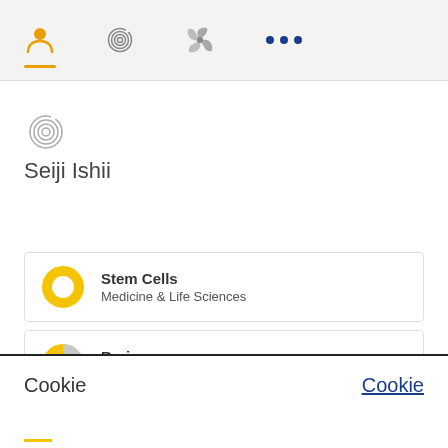[Figure (screenshot): Navigation bar with user icon (active, orange underline), fingerprint/spiral icon, pinwheel icon, and three dots menu icon]
[Figure (illustration): Spiral/fingerprint icon in gray, representing an author profile placeholder]
Seiji Ishii
[Figure (donut-chart): Yellow donut chart icon for Stem Cells topic card]
Stem Cells
Medicine & Life Sciences
[Figure (donut-chart): Yellow donut chart icon for Brain topic card]
Brain
Medicine & Life Sciences
Cookie
Cookie